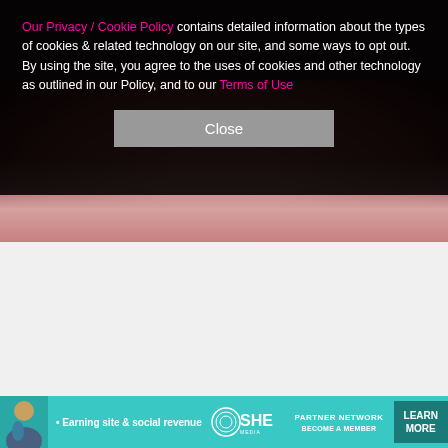[Figure (photo): Dark background photo showing a person in a pink/red top, partially visible shoulder area]
Our Privacy / Cookie Policy contains detailed information about the types of cookies & related technology on our site, and some ways to opt out. By using the site, you agree to the uses of cookies and other technology as outlined in our Policy, and to our Terms of Use
Close
23/55
@SCOTTKFOLEY / INSTAGRAM
"My dad isn't on social media but if he was…I'd tell him how proud I am to be his son. How the lessons that he instilled in me have made me the husband, father and man that I am today. How I so regret those adolescent and young adult years when I was an insufferable a–
[Figure (infographic): Advertisement banner for SHE Media Partner Network. Text: Earning site & social revenue. LEARN MORE. BECOME A MEMBER.]